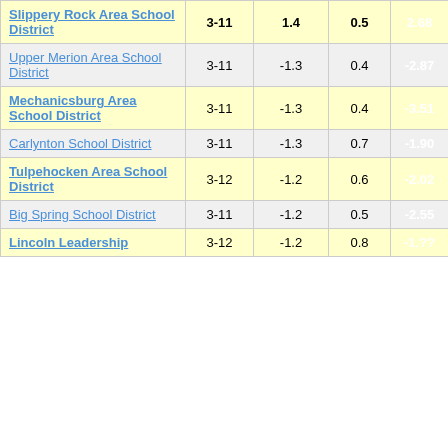| District | Grades | Col3 | Col4 | Score |
| --- | --- | --- | --- | --- |
| Slippery Rock Area School District | 3-11 | 1.4 | 0.5 | 2.68 |
| Upper Merion Area School District | 3-11 | -1.3 | 0.4 | -2.87 |
| Mechanicsburg Area School District | 3-11 | -1.3 | 0.4 | -3.51 |
| Carlynton School District | 3-11 | -1.3 | 0.7 | -1.90 |
| Tulpehocken Area School District | 3-12 | -1.2 | 0.6 | -2.02 |
| Big Spring School District | 3-11 | -1.2 | 0.5 | -2.55 |
| Lincoln Leadership | 3-12 | -1.2 | 0.8 | -1.?? |